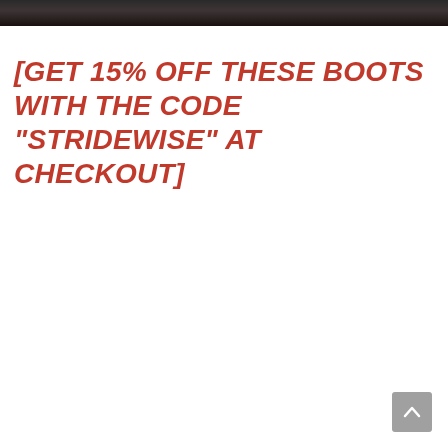[Figure (photo): Dark photographic image strip at the top of the page, showing a dark/shadowy scene, cropped to a narrow horizontal band.]
[GET 15% OFF THESE BOOTS WITH THE CODE “STRIDEWISE” AT CHECKOUT]